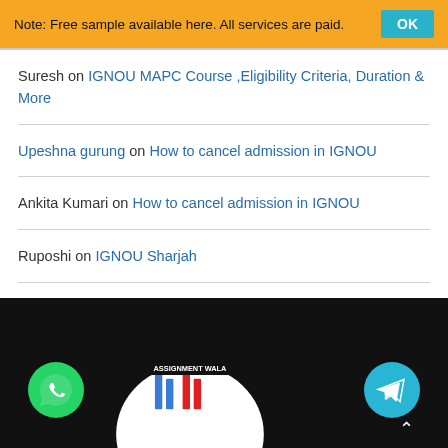Note: Free sample available here. All services are paid.
Suresh on IGNOU MAPC Course ,Eligibility Criteria, Duration & More
Upeshna gurung on How to cancel admission in IGNOU
Ankita Kumari on How to cancel admission in IGNOU
Ruposhi on IGNOU Sharjah
Ruposhi on IGNOU Sharjah
[Figure (screenshot): Website footer with black background, WhatsApp green circle icon bottom left, Telegram blue circle icon bottom right, and a logo with 'Assignment Wala' text and colored bars in an arch shape in the center.]